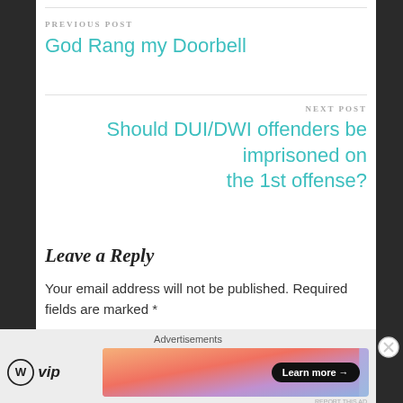PREVIOUS POST
God Rang my Doorbell
NEXT POST
Should DUI/DWI offenders be imprisoned on the 1st offense?
Leave a Reply
Your email address will not be published. Required fields are marked *
COMMENT *
Advertisements
[Figure (logo): WordPress VIP logo with circular W icon and 'vip' text, alongside a 'Learn more' button on a colorful gradient background ad banner]